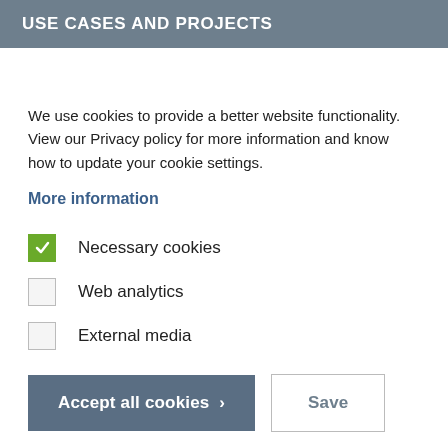USE CASES AND PROJECTS
We use cookies to provide a better website functionality. View our Privacy policy for more information and know how to update your cookie settings.
More information
Necessary cookies
Web analytics
External media
Accept all cookies >   Save